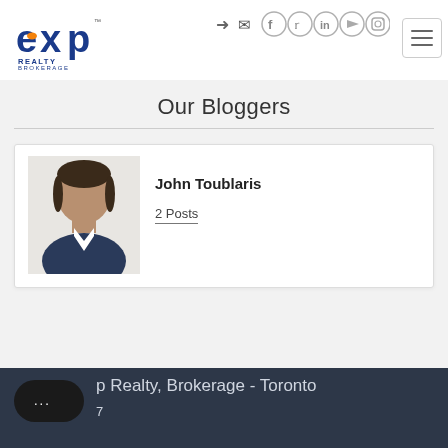[Figure (logo): eXp Realty Brokerage logo — orange and blue text logo]
[Figure (infographic): Social media icons row: login arrow, email envelope, Facebook f, Twitter bird, LinkedIn in, YouTube play button, Instagram camera]
[Figure (infographic): Hamburger menu icon (three horizontal lines in a rounded rectangle border)]
Our Bloggers
[Figure (photo): Headshot photo of John Toublaris, a man in a suit smiling, against a white brick wall background]
John Toublaris
2 Posts
p Realty, Brokerage - Toronto
7